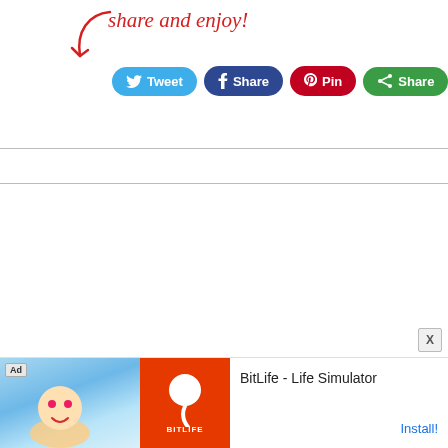[Figure (illustration): Red handwritten-style text reading 'share and enjoy!' with a red curved arrow pointing down-left toward social sharing buttons]
[Figure (screenshot): Social sharing buttons row: Twitter (Tweet), Facebook (Share), Pinterest (Pin), Google (Share)]
[Figure (screenshot): A rectangular input/search box with a checkbox on the left side]
[Figure (screenshot): Advertisement bar at the bottom: Ad label, BitLife Life Simulator app with cartoon image and orange BitLife logo, Install button]